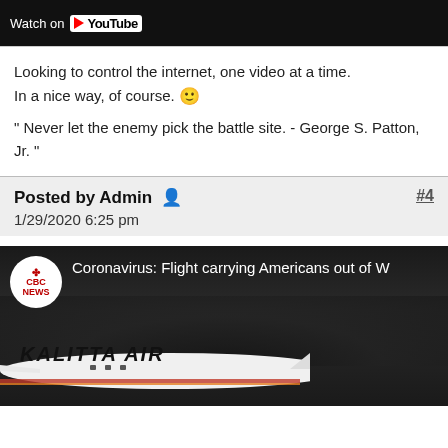[Figure (screenshot): YouTube video thumbnail bar showing 'Watch on YouTube' text with YouTube logo]
Looking to control the internet, one video at a time.
In a nice way, of course. 🙂

" Never let the enemy pick the battle site. - George S. Patton, Jr. "
Posted by Admin 🧑  #4
1/29/2020 6:25 pm
[Figure (screenshot): CBC News YouTube video thumbnail: 'Coronavirus: Flight carrying Americans out of W...' showing a Kalitta Air plane on a dark runway]